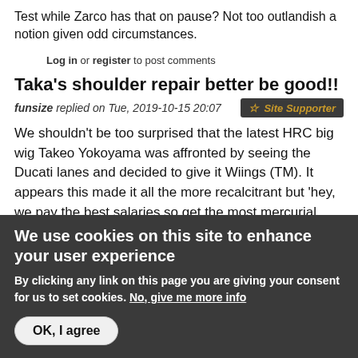Test while Zarco has that on pause? Not too outlandish a notion given odd circumstances.
Log in or register to post comments
Taka's shoulder repair better be good!!
funsize replied on Tue, 2019-10-15 20:07  ☆ Site Supporter
We shouldn't be too surprised that the latest HRC big wig Takeo Yokoyama was affronted by seeing the Ducati lanes and decided to give it Wiings (TM). It appears this made it all the more recalcitrant but 'hey, we pay the best salaries so get the most mercurial talent so we win,
We use cookies on this site to enhance your user experience
By clicking any link on this page you are giving your consent for us to set cookies. No, give me more info
OK, I agree